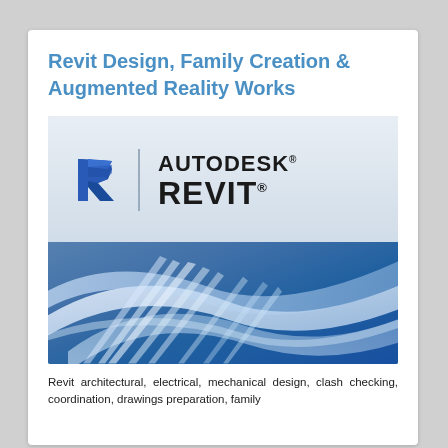Revit Design, Family Creation & Augmented Reality Works
[Figure (logo): Autodesk Revit logo with 3D 'R' icon on left, vertical divider, 'AUTODESK REVIT' text on right, and abstract blue/white ribbon forms in lower half]
Revit architectural, electrical, mechanical design, clash checking, coordination, drawings preparation, family